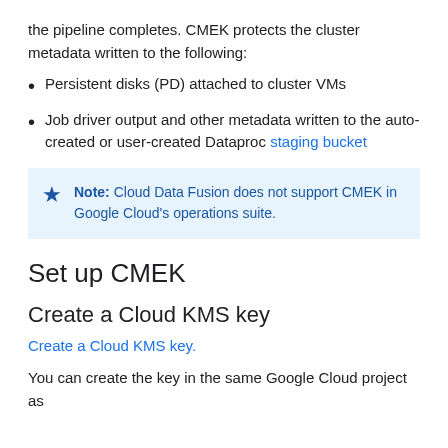the pipeline completes. CMEK protects the cluster metadata written to the following:
Persistent disks (PD) attached to cluster VMs
Job driver output and other metadata written to the auto-created or user-created Dataproc staging bucket
Note: Cloud Data Fusion does not support CMEK in Google Cloud's operations suite.
Set up CMEK
Create a Cloud KMS key
Create a Cloud KMS key.
You can create the key in the same Google Cloud project as